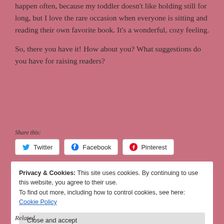happen often, because my toddler doesn't like holding still for long, but I love the rare occasion when everyone is sitting and reading their own favorite book. It's a wonderful, cozy feeling.
So, there you have it! How about you? What suggestions do you have for raising readers?
Share this:
Twitter  Facebook  Pinterest
Privacy & Cookies: This site uses cookies. By continuing to use this website, you agree to their use.
To find out more, including how to control cookies, see here: Cookie Policy
Close and accept
Related